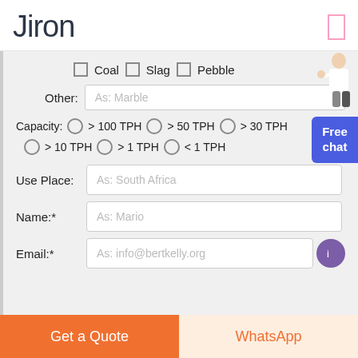Jiron
Coal  Slag  Pebble
Other: As: Marble
Capacity:  > 100 TPH  > 50 TPH  > 30 TPH
> 10 TPH  > 1 TPH  < 1 TPH
Use Place: As: South Africa
Name:* As: Mario
Email:* As: info@bertkelly.org
Free chat
Get a Quote
WhatsApp